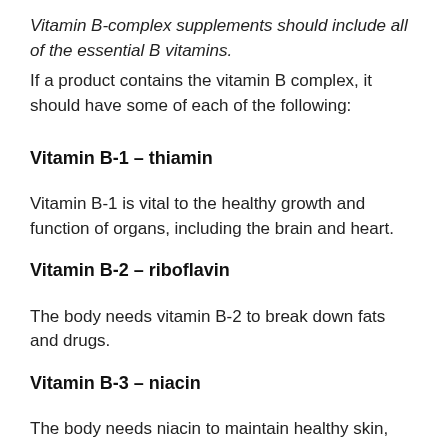Vitamin B-complex supplements should include all of the essential B vitamins.
If a product contains the vitamin B complex, it should have some of each of the following:
Vitamin B-1 – thiamin
Vitamin B-1 is vital to the healthy growth and function of organs, including the brain and heart.
Vitamin B-2 – riboflavin
The body needs vitamin B-2 to break down fats and drugs.
Vitamin B-3 – niacin
The body needs niacin to maintain healthy skin, nerves,